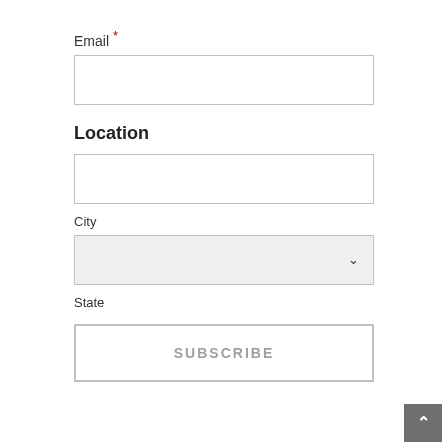Email *
[Figure (other): Empty text input field for email]
Location
[Figure (other): Empty text input field for location]
City
[Figure (other): Dropdown select input for city with chevron arrow]
State
[Figure (other): Subscribe button with border and grey text]
[Figure (other): Back to top scroll button, grey square with up arrow]